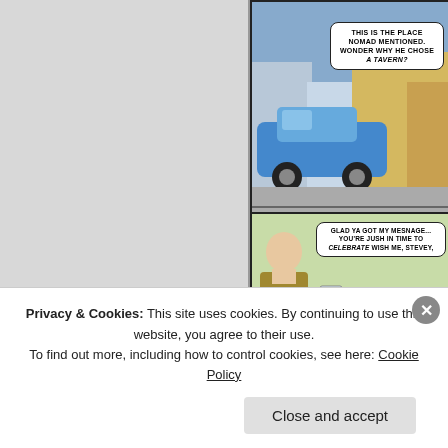[Figure (illustration): Comic book page showing two panels. Top right panel: street scene with a car, speech bubble reading 'THIS IS THE PLACE NOMAD MENTIONED. WONDER WHY HE CHOSE A TAVERN?' Bottom right panel: interior tavern scene with a person in yellow/brown coat standing and another person (Nomad) in blue jacket sitting with beer mugs, smiling. Speech bubble: 'GLAD YA GOT MY MESNAGE... YOU'RE JUSH IN TIME TO CELEBRATE WISH ME, STEVEY.' Thought bubble: 'JUDGING BY THE PYRAMID OF MUGS AND HIS SLURRED SPEECH... NOMADS DRUNK!' Bottom speech: 'WHAT'S GOING ON, JACK? WHERE'S D MANO']
Privacy & Cookies: This site uses cookies. By continuing to use this website, you agree to their use. To find out more, including how to control cookies, see here: Cookie Policy
Close and accept
NEXT: THE →